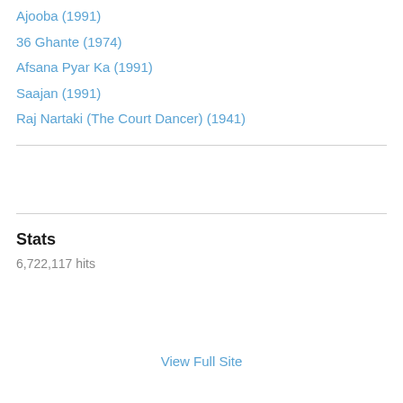Ajooba (1991)
36 Ghante (1974)
Afsana Pyar Ka (1991)
Saajan (1991)
Raj Nartaki (The Court Dancer) (1941)
Stats
6,722,117 hits
View Full Site